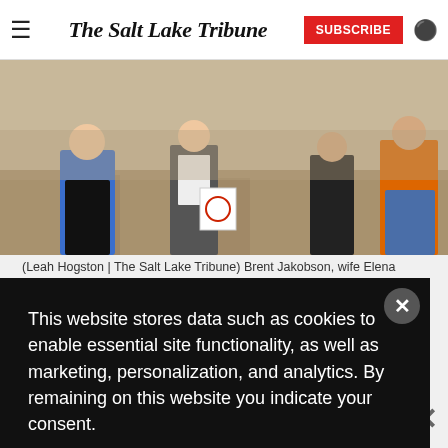The Salt Lake Tribune — SUBSCRIBE
[Figure (photo): People standing outdoors on sandy/gravel ground. One person wearing a blue hoodie, another in an orange vest, others in dark clothing. Appears to be a construction or outdoor site visit.]
(Leah Hogston | The Salt Lake Tribune) Brent Jakobson, wife Elena ... Drive in West ... ct that ... ges at 5400 ... complain that ... terchange will ... of feet tall in — saying tha ... not do mucl
This website stores data such as cookies to enable essential site functionality, as well as marketing, personalization, and analytics. By remaining on this website you indicate your consent.
Data Storage Policy